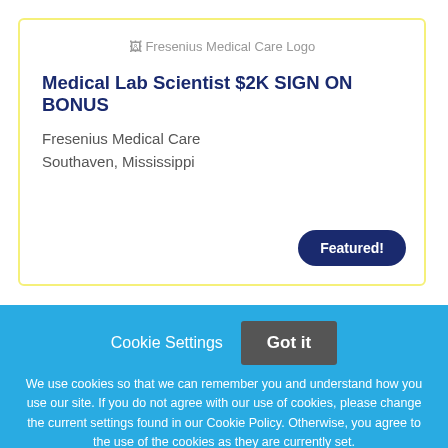[Figure (logo): Fresenius Medical Care Logo (broken image placeholder)]
Medical Lab Scientist $2K SIGN ON BONUS
Fresenius Medical Care
Southaven, Mississippi
Featured!
Cookie Settings
Got it
We use cookies so that we can remember you and understand how you use our site. If you do not agree with our use of cookies, please change the current settings found in our Cookie Policy. Otherwise, you agree to the use of the cookies as they are currently set.